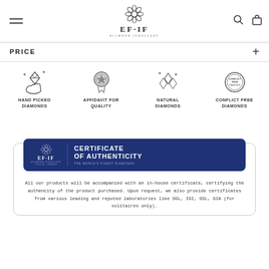[Figure (logo): EF·IF Diamond Jewellery logo with decorative floral emblem above]
PRICE
[Figure (infographic): Four icons: Hand Picked Diamonds, Affidavit For Quality, Natural Diamonds, Conflict Free Diamonds]
[Figure (infographic): Certificate of Authenticity banner with EF·IF Diamond Jewellery branding, THE WORLD'S FINEST DIAMONDS]
All our products will be accompanied with an in-house certificate, certifying the authencity of the product purchased. Upon request, we also provide certificates from various leading and reputed laboratories like SGL, IGI, GSL, GIA (for solitaires only).